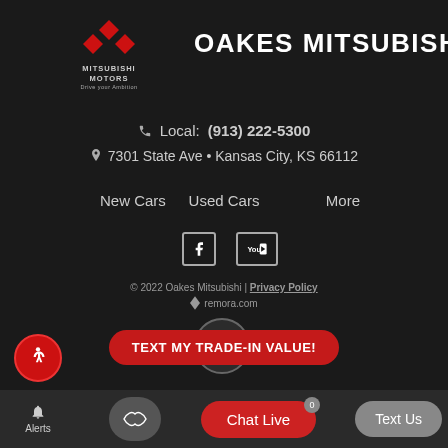[Figure (logo): Mitsubishi Motors logo with red diamond and text MITSUBISHI MOTORS Drive your Ambition]
OAKES MITSUBISHI
Local: (913) 222-5300
7301 State Ave • Kansas City, KS 66112
New Cars
Used Cars
More
[Figure (logo): Facebook icon]
[Figure (logo): YouTube icon]
© 2022 Oakes Mitsubishi | Privacy Policy
remora.com
TEXT MY TRADE-IN VALUE!
Chat Live
Text Us
Alerts